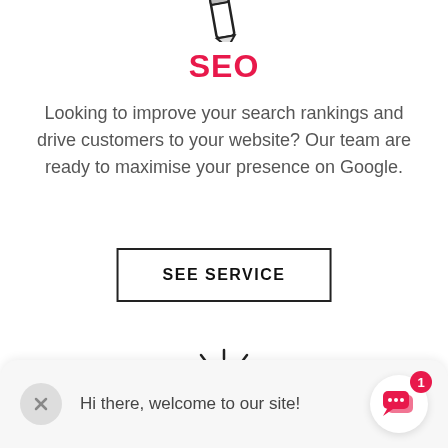[Figure (illustration): Pencil/pen icon at the top of the page, partially visible, dark outline style]
SEO
Looking to improve your search rankings and drive customers to your website? Our team are ready to maximise your presence on Google.
[Figure (other): Button/call-to-action with text SEE SERVICE, black border rectangle]
[Figure (illustration): Light bulb icon with rays, hand-drawn style, black outline]
Hi there, welcome to our site!